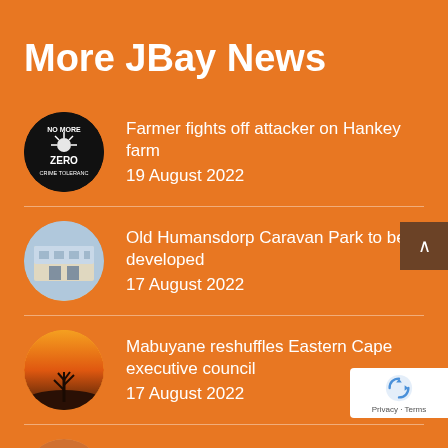More JBay News
Farmer fights off attacker on Hankey farm
19 August 2022
Old Humansdorp Caravan Park to be developed
17 August 2022
Mabuyane reshuffles Eastern Cape executive council
17 August 2022
Stage 2 load shedding implemented